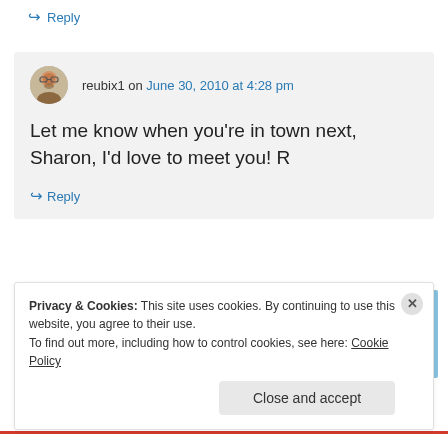↪ Reply
reubix1 on June 30, 2010 at 4:28 pm
Let me know when you're in town next, Sharon, I'd love to meet you! R
↪ Reply
[Figure (illustration): Partial illustration showing a blue background with a pink horseshoe/magnet shape and a yellow diamond star shape]
Privacy & Cookies: This site uses cookies. By continuing to use this website, you agree to their use.
To find out more, including how to control cookies, see here: Cookie Policy
Close and accept